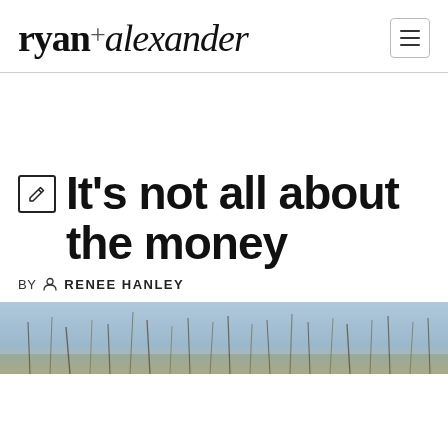ryan+alexander
It's not all about the money
BY RENEE HANLEY
[Figure (photo): Outdoor nature photograph showing reeds or tall grasses against a blurred sky and water background]